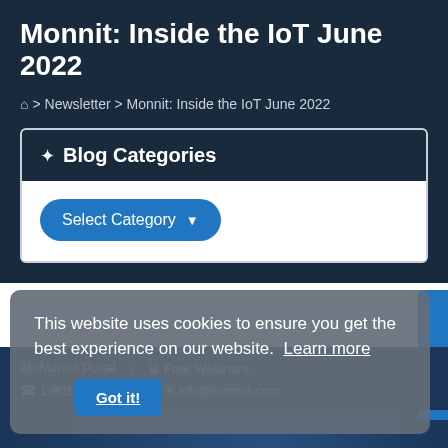Monnit: Inside the IoT June 2022
🏠 > Newsletter > Monnit: Inside the IoT June 2022
✦ Blog Categories
Select Category ▾
This website uses cookies to ensure you get the best experience on our website. Learn more
Got it!
iMonnit Portal | Free Webinars | 1-801-561-5555 | info@monnit.com